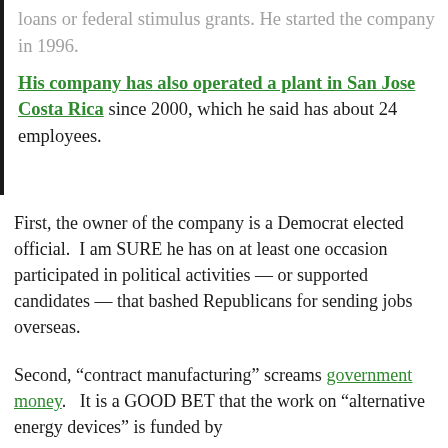loans or federal stimulus grants. He started the company in 1996.
His company has also operated a plant in San Jose Costa Rica since 2000, which he said has about 24 employees.
First, the owner of the company is a Democrat elected official.  I am SURE he has on at least one occasion participated in political activities — or supported candidates — that bashed Republicans for sending jobs overseas.
Second, “contract manufacturing” screams government money.   It is a GOOD BET that the work on “alternative energy devices” is funded by